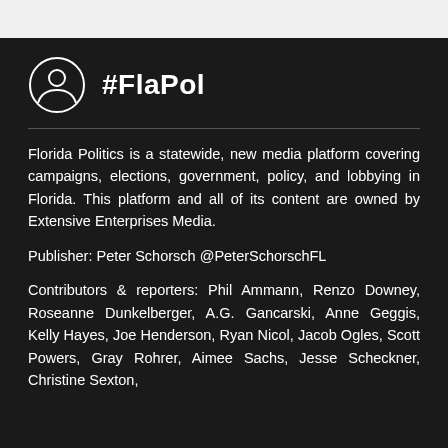#FlaPol
Florida Politics is a statewide, new media platform covering campaigns, elections, government, policy, and lobbying in Florida. This platform and all of its content are owned by Extensive Enterprises Media.
Publisher: Peter Schorsch @PeterSchorschFL
Contributors & reporters: Phil Ammann, Renzo Downey, Roseanne Dunkelberger, A.G. Gancarski, Anne Geggis, Kelly Hayes, Joe Henderson, Ryan Nicol, Jacob Ogles, Scott Powers, Gray Rohrer, Aimee Sachs, Jesse Scheckner, Christine Sexton,